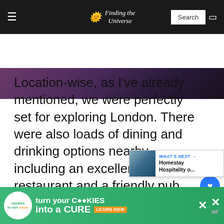Finding the Universe
[Figure (photo): Dark purple/maroon blurred background image strip]
Location-wise, as I've already mentioned, we were perfectly set for exploring London. There were also loads of dining and drinking options nearby, including an excellent Italian restaurant and a friendly pub. This latter was directly opposite, so we did worry that noise might be a p[roblem], but thankfully noise-ordinance laws in Lo[ndon kept it quiet]
[Figure (screenshot): WHAT'S NEXT overlay card: Homestay Hospitality o...]
[Figure (screenshot): Ad banner: cookies for kids cancer - turn your COOKIES into a CURE LEARN HOW]